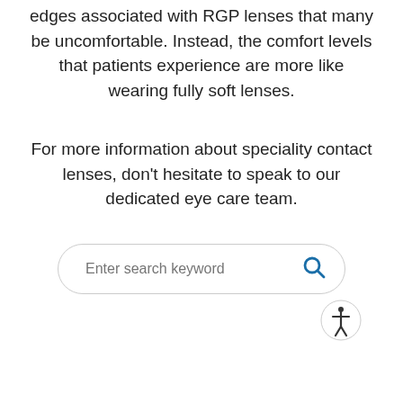edges associated with RGP lenses that many be uncomfortable. Instead, the comfort levels that patients experience are more like wearing fully soft lenses.
For more information about speciality contact lenses, don't hesitate to speak to our dedicated eye care team.
[Figure (other): Search input box with placeholder text 'Enter search keyword' and a blue search icon, plus an accessibility icon button in the bottom-right corner.]